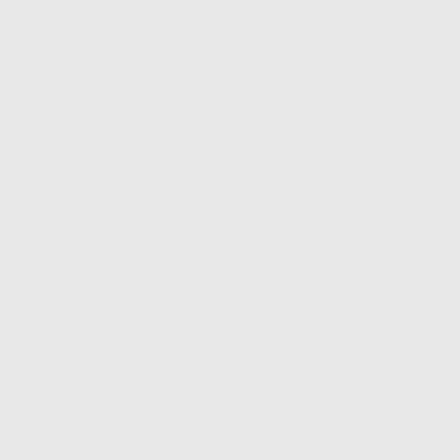Bagong Luzon
Envoy
Posts: 208
Founded: Jan 30, 2018
Iron Fist Consumerists
by Bagong Luzon
» Mon Oct 28, 2019 5:09 am
Un cor to pla the stil uni Ph as reb wre hav in far- flur are civ so(